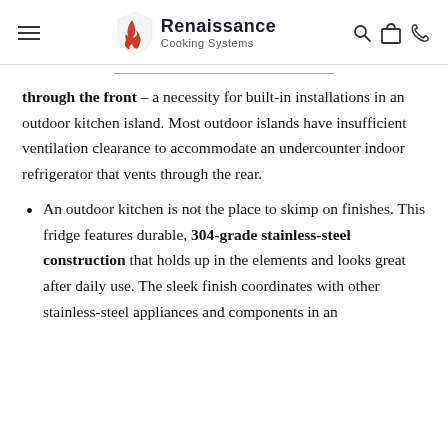Renaissance Cooking Systems
through the front – a necessity for built-in installations in an outdoor kitchen island. Most outdoor islands have insufficient ventilation clearance to accommodate an undercounter indoor refrigerator that vents through the rear.
An outdoor kitchen is not the place to skimp on finishes. This fridge features durable, 304-grade stainless-steel construction that holds up in the elements and looks great after daily use. The sleek finish coordinates with other stainless-steel appliances and components in an